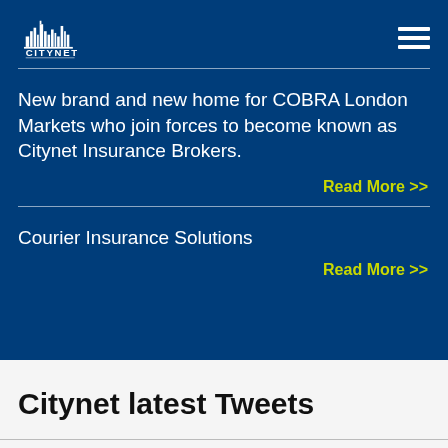[Figure (logo): Citynet Lloyd's Broker logo - white skyline silhouette with text CITYNET and LLOYD'S BROKER on dark blue background]
New brand and new home for COBRA London Markets who join forces to become known as Citynet Insurance Brokers.
Read More >>
Courier Insurance Solutions
Read More >>
Citynet latest Tweets